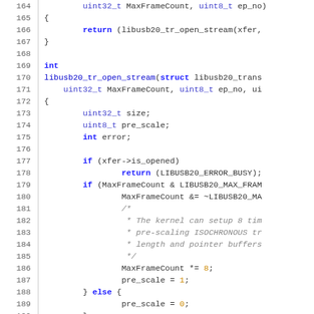[Figure (screenshot): Source code listing in C showing lines 164-193, with syntax highlighting. Blue keywords, orange numbers, grey italic comments, dark text for identifiers.]